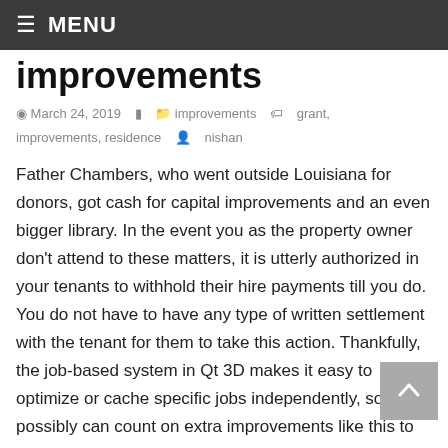≡ MENU
improvements
March 24, 2019   improvements   grant, improvements, residence   nishan
Father Chambers, who went outside Louisiana for donors, got cash for capital improvements and an even bigger library. In the event you as the property owner don't attend to these matters, it is utterly authorized in your tenants to withhold their hire payments till you do. You do not have to have any type of written settlement with the tenant for them to take this action. Thankfully, the job-based system in Qt 3D makes it easy to optimize or cache specific jobs independently, so you possibly can count on extra improvements like this to land within the upcoming Qt 3D releases.